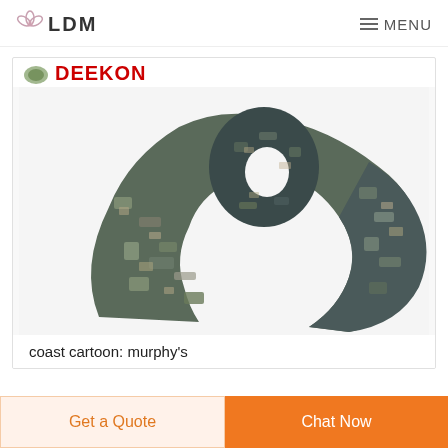LDM  MENU
[Figure (logo): DEEKON brand logo in red bold text with a small military/camo icon above]
[Figure (photo): Camouflage scarf/shemagh in digital ACU-style grey and tan camouflage pattern, draped and knotted]
coast cartoon: murphy's
Get a Quote
Chat Now